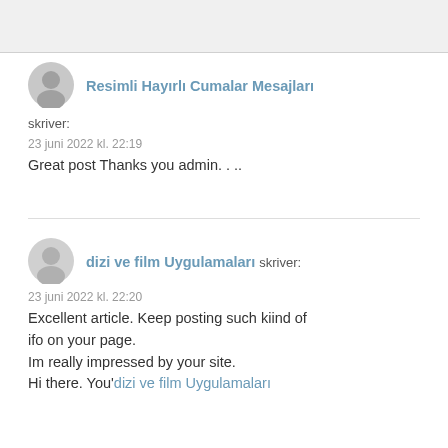Resimli Hayırlı Cumalar Mesajları
skriver:
23 juni 2022 kl. 22:19
Great post Thanks you admin....
dizi ve film Uygulamaları skriver:
23 juni 2022 kl. 22:20
Excellent article. Keep posting such kiind of ifo on your page. Im really impressed by your site. Hi there. You'dizi ve film Uygulamaları